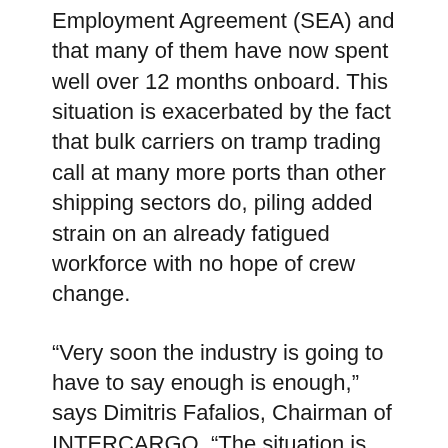Employment Agreement (SEA) and that many of them have now spent well over 12 months onboard. This situation is exacerbated by the fact that bulk carriers on tramp trading call at many more ports than other shipping sectors do, piling added strain on an already fatigued workforce with no hope of crew change.
“Very soon the industry is going to have to say enough is enough,” says Dimitris Fafalios, Chairman of INTERCARGO. “The situation is reaching farcical proportions. We have seen crew changes refused because a COVID test could not be carried out within the prescribed 48-hour window before the crew’s arrival, despite the journey to the port taking three days. In some